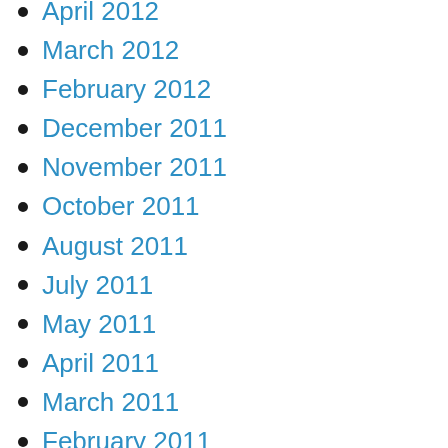April 2012
March 2012
February 2012
December 2011
November 2011
October 2011
August 2011
July 2011
May 2011
April 2011
March 2011
February 2011
January 2011
December 2010
November 2010
October 2010